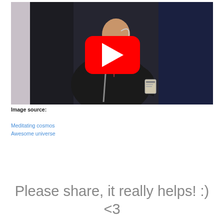[Figure (photo): A man in a dark suit wearing a headset microphone stands at a podium in front of dark curtains, appearing to give a presentation. A red YouTube play button overlay is shown in the center of the image.]
Image source:
Meditating cosmos
Awesome universe
Please share, it really helps! :)
<3